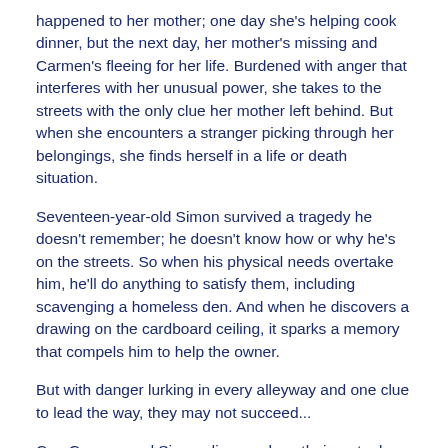happened to her mother; one day she's helping cook dinner, but the next day, her mother's missing and Carmen's fleeing for her life. Burdened with anger that interferes with her unusual power, she takes to the streets with the only clue her mother left behind. But when she encounters a stranger picking through her belongings, she finds herself in a life or death situation.
Seventeen-year-old Simon survived a tragedy he doesn't remember; he doesn't know how or why he's on the streets. So when his physical needs overtake him, he'll do anything to satisfy them, including scavenging a homeless den. And when he discovers a drawing on the cardboard ceiling, it sparks a memory that compels him to help the owner.
But with danger lurking in every alleyway and one clue to lead the way, they may not succeed...
Can Carmen and Simon discover how their mutual clue connects them before her mother's life is taken?
The Gifted Ones The Lost Prince is the exciting final book in The Gifted Ones superhero fantasy series. If you like young heroes, realistic settings, and stories of adventure, then you'll love PG Shriver's third